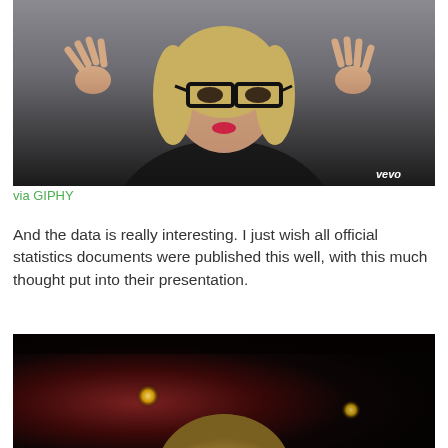[Figure (photo): Photo of a blonde woman in a black leather jacket and large glasses, raising her hands in a claw pose, with a 'vevo' watermark in the bottom right corner]
via GIPHY
And the data is really interesting. I just wish all official statistics documents were published this well, with this much thought put into their presentation.
[Figure (photo): Partial photo of a blonde person with bokeh stage lights in the background, dark reddish atmosphere]